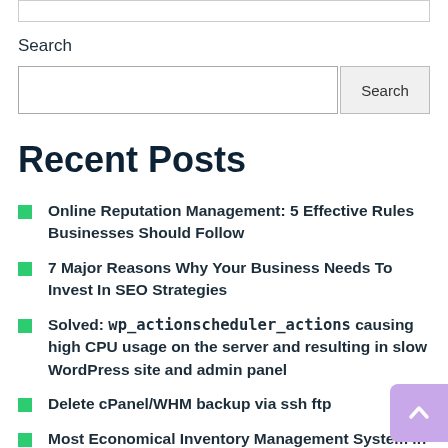Search
Search (input field with Search button)
Recent Posts
Online Reputation Management: 5 Effective Rules Businesses Should Follow
7 Major Reasons Why Your Business Needs To Invest In SEO Strategies
Solved: wp_actionscheduler_actions causing high CPU usage on the server and resulting in slow WordPress site and admin panel
Delete cPanel/WHM backup via ssh ftp
Most Economical Inventory Management System in…